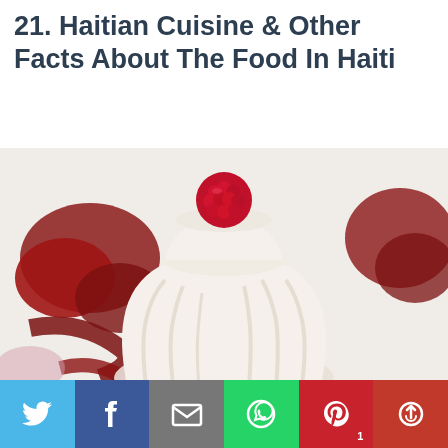21. Haitian Cuisine & Other Facts About The Food In Haiti
[Figure (photo): Close-up photo of a white panna cotta or blancmange dessert topped with a fresh raspberry, surrounded by red berry coulis or jam sauce on a white plate]
[Figure (infographic): Social media share bar with buttons: Twitter (blue), Facebook (dark blue), Email (gray), WhatsApp (green), Pinterest with count 1 (red), More/share (dark red)]